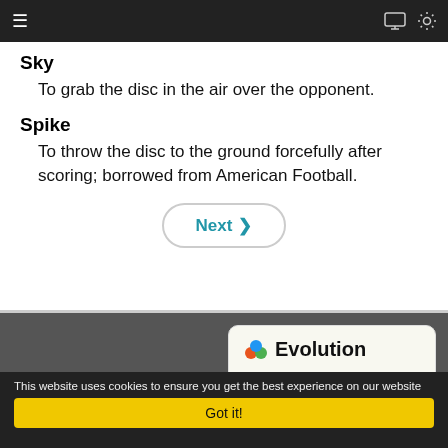≡   [monitor icon] [settings icon]
Sky
To grab the disc in the air over the opponent.
Spike
To throw the disc to the ground forcefully after scoring; borrowed from American Football.
Next ›
[Figure (other): Evolution card with colored circles icon, title 'Evolution', and partial text: Scientists believe 400 million years ago humans originated as an ape. It]
This website uses cookies to ensure you get the best experience on our website
Got it!